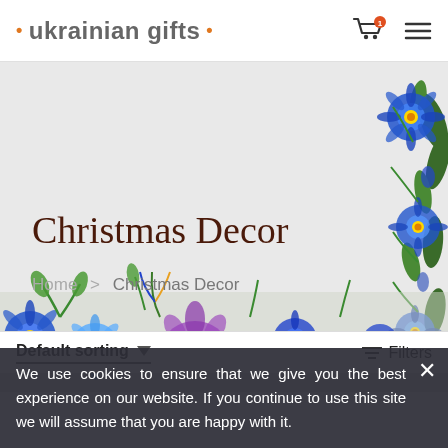• ukrainian gifts •
[Figure (illustration): Decorative Ukrainian folk art floral banner with blue, purple and multicolored flowers on grey background, flowers along right side and bottom edges]
Christmas Decor
Home > Christmas Decor
Default sorting ▾   Filters
We use cookies to ensure that we give you the best experience on our website. If you continue to use this site we will assume that you are happy with it.